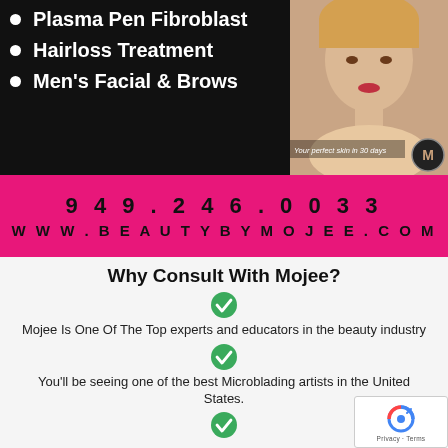Plasma Pen Fibroblast
Hairloss Treatment
Men's Facial & Brows
[Figure (photo): Portrait photo of a blonde woman with text overlay: 'Your perfect skin in 30 days' and M logo circle]
949.246.0033
WWW.BEAUTYBYMOJEE.COM
Why Consult With Mojee?
Mojee Is One Of The Top experts and educators in the beauty industry
You'll be seeing one of the best Microblading artists in the United States.